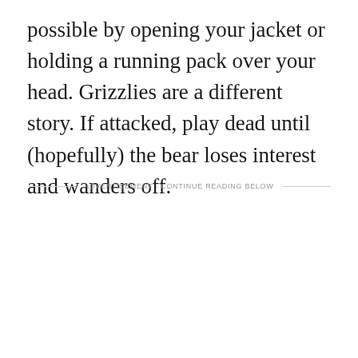possible by opening your jacket or holding a running pack over your head. Grizzlies are a different story. If attacked, play dead until (hopefully) the bear loses interest and wanders off.
ADVERTISEMENT - CONTINUE READING BELOW